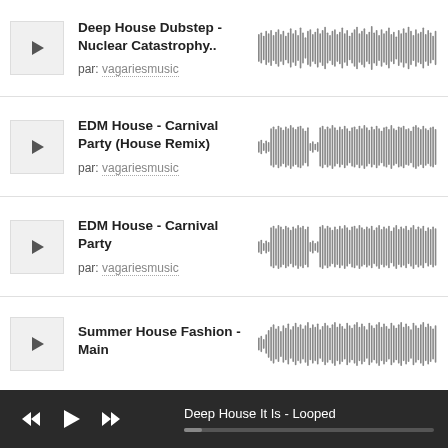[Figure (screenshot): Music player interface showing a list of tracks with play buttons, track titles, authors, and waveform previews. Bottom player bar shows controls and current track.]
Deep House Dubstep - Nuclear Catastrophy..
par: vagariesmusic
EDM House - Carnival Party (House Remix)
par: vagariesmusic
EDM House - Carnival Party
par: vagariesmusic
Summer House Fashion - Main
Deep House It Is - Looped